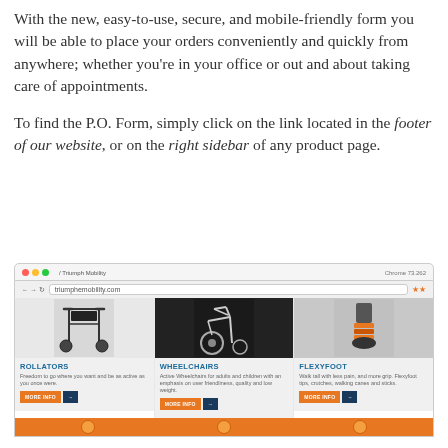With the new, easy-to-use, secure, and mobile-friendly form you will be able to place your orders conveniently and quickly from anywhere; whether you're in your office or out and about taking care of appointments.
To find the P.O. Form, simply click on the link located in the footer of our website, or on the right sidebar of any product page.
[Figure (screenshot): Screenshot of a website (triumphemobility.com) showing a product grid with three categories: ROLLATORS (with a rollator walker image), WHEELCHAIRS (with a wheelchair image), and FLEXYFOOT (with a crutch tip image). Each has a description and orange MORE INFO button with a blue arrow button. An orange footer bar is partially visible at the bottom.]